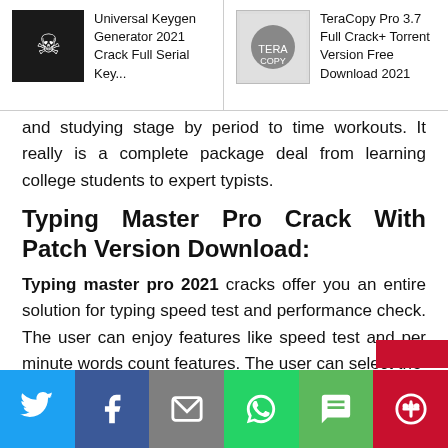Universal Keygen Generator 2021 Crack Full Serial Key... | TeraCopy Pro 3.7 Full Crack+ Torrent Version Free Download 2021
and studying stage by period to time workouts. It really is a complete package deal from learning college students to expert typists.
Typing Master Pro Crack With Patch Version Download:
Typing master pro 2021 cracks offer you an entire solution for typing speed test and performance check. The user can enjoy features like speed test and per minute words count features. The user can select the
Twitter | Facebook | Email | WhatsApp | SMS | More